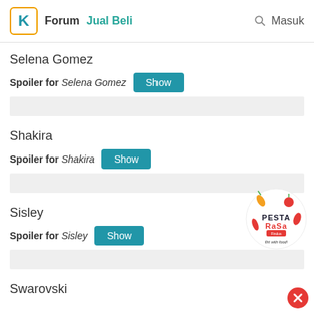Forum  Jual Beli  Masuk
Selena Gomez
Spoiler for Selena Gomez  [Show]
Shakira
Spoiler for Shakira  [Show]
[Figure (logo): Pesta Rasa circular logo with food items and text 'flirt with food!']
Sisley
Spoiler for Sisley  [Show]
Swarovski